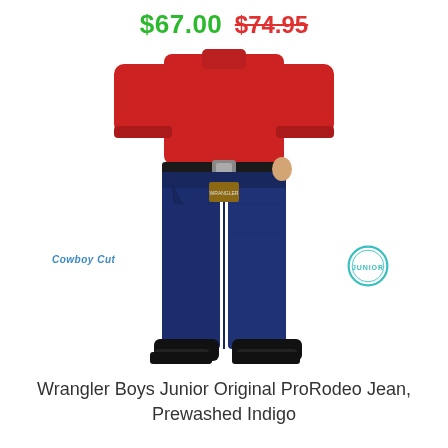$67.00 $74.95
[Figure (photo): Back view of a boy wearing Wrangler Cowboy Cut jeans in prewashed indigo, a red long-sleeve shirt, black belt, and black boots. Labels 'Cowboy Cut' in blue italic text and 'JUNIOR' in a teal circle badge are overlaid on the image.]
Wrangler Boys Junior Original ProRodeo Jean, Prewashed Indigo